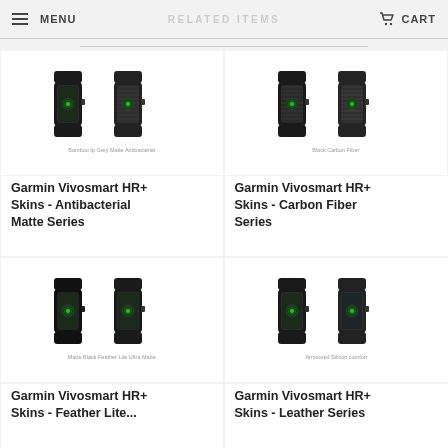MENU | RELATED ITEMS | CART
[Figure (photo): Garmin Vivosmart HR+ with Antibacterial Matte Series skin - two views of fitness tracker band]
Bamboo Ip Grey Matte Antibacterial
Garmin Vivosmart HR+ Skins - Antibacterial Matte Series
[Figure (photo): Garmin Vivosmart HR+ with Carbon Fiber Series skin - two views of fitness tracker band]
Black Carbon Fiber
Garmin Vivosmart HR+ Skins - Carbon Fiber Series
[Figure (photo): Garmin Vivosmart HR+ with Feather Lite Ultra skin - two views of fitness tracker band]
Matte Black Feather Lite Ultra Matte
Garmin Vivosmart HR+ Skins - Feather Lite...
[Figure (photo): Garmin Vivosmart HR+ with Leather Series skin - two views of fitness tracker band]
Armoured Silicon comfort
Garmin Vivosmart HR+ Skins - Leather Series